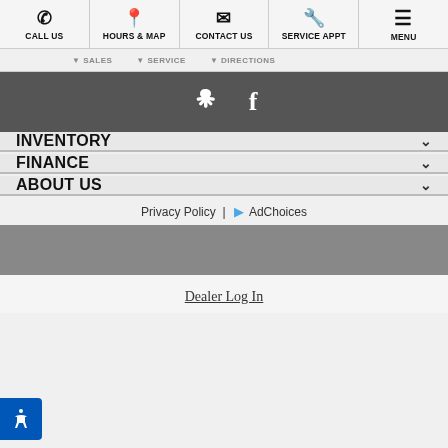[Figure (screenshot): Mobile website navigation bar with icons and labels: CALL US, HOURS & MAP, CONTACT US, SERVICE APPT, MENU]
[Figure (screenshot): Partial sub-navigation bar showing SALES, SERVICE, DIRECTIONS labels partially cut off]
[Figure (screenshot): Dark gray social media bar with Yelp and Facebook icons in white]
INVENTORY
FINANCE
ABOUT US
Privacy Policy | AdChoices
Dealer Log In